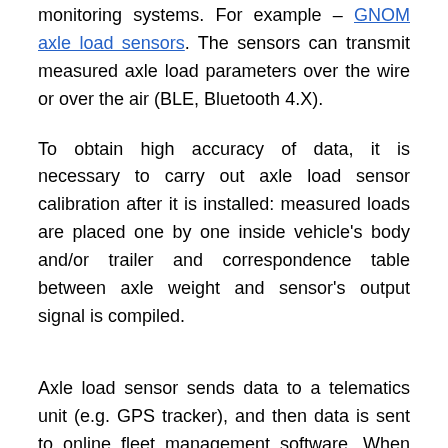monitoring systems. For example – GNOM axle load sensors. The sensors can transmit measured axle load parameters over the wire or over the air (BLE, Bluetooth 4.X).
To obtain high accuracy of data, it is necessary to carry out axle load sensor calibration after it is installed: measured loads are placed one by one inside vehicle's body and/or trailer and correspondence table between axle weight and sensor's output signal is compiled.
Axle load sensor sends data to a telematics unit (e.g. GPS tracker), and then data is sent to online fleet management software. When using wireless GNOM axle loads sensor with BLE, driver can carry out onboard weighing during cargo loading and thus prevent exceeding axle load limit. GNOM will send